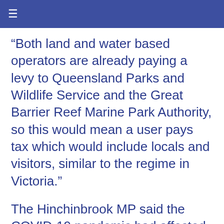≡
“Both land and water based operators are already paying a levy to Queensland Parks and Wildlife Service and the Great Barrier Reef Marine Park Authority, so this would mean a user pays tax which would include locals and visitors, similar to the regime in Victoria.”
The Hinchinbrook MP said the COVID-19 pandemic had affected people’s travelling patterns and behaviours, lengthy holidays were now perceived as more of a safety risk, with people